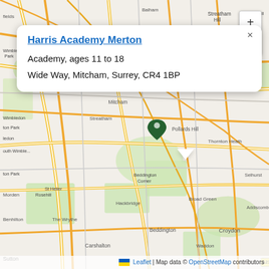[Figure (map): OpenStreetMap leaflet map centered on Mitcham/Merton area of South London, showing areas including Streatham, Tulse Hill, Dulwich, West Norwood, Crystal Palace, Upper Tooting, Wimbledon Park, Morden, Pollards Hill, Thornton Heath, Selhurst, Beddington Corner, Hackbridge, Broad Green, Addiscombe, Benhilton, The Wrythe, Beddington, Croydon, Carshalton, Waddon, Sutton. A dark green map pin is placed at Pollards Hill/Mitcham area.]
Harris Academy Merton
Academy, ages 11 to 18
Wide Way, Mitcham, Surrey, CR4 1BP
Leaflet | Map data © OpenStreetMap contributors